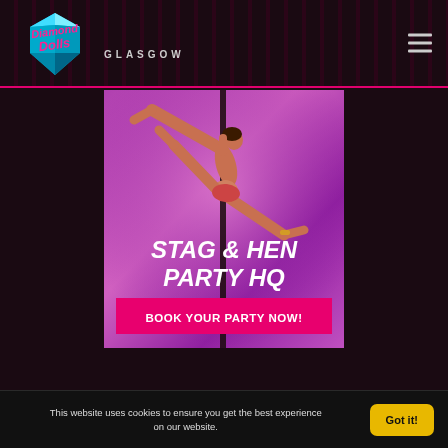[Figure (logo): Diamond Dolls Glasgow logo with diamond gem icon and stylized pink/cyan script text]
[Figure (photo): Promotional banner for Diamond Dolls Glasgow showing a pole dancer in a pink/purple lit environment with text 'STAG & HEN PARTY HQ' and a pink button 'BOOK YOUR PARTY NOW!']
This website uses cookies to ensure you get the best experience on our website.
Got it!